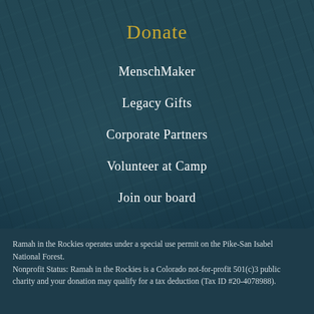Donate
MenschMaker
Legacy Gifts
Corporate Partners
Volunteer at Camp
Join our board
Ramah in the Rockies operates under a special use permit on the Pike-San Isabel National Forest.
Nonprofit Status: Ramah in the Rockies is a Colorado not-for-profit 501(c)3 public charity and your donation may qualify for a tax deduction (Tax ID #20-4078988).